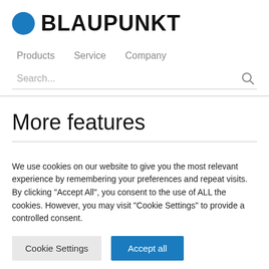[Figure (logo): Blaupunkt logo with blue circle and bold black text]
Products   Service   Company
Search...
More features
We use cookies on our website to give you the most relevant experience by remembering your preferences and repeat visits. By clicking "Accept All", you consent to the use of ALL the cookies. However, you may visit "Cookie Settings" to provide a controlled consent.
Cookie Settings   Accept all